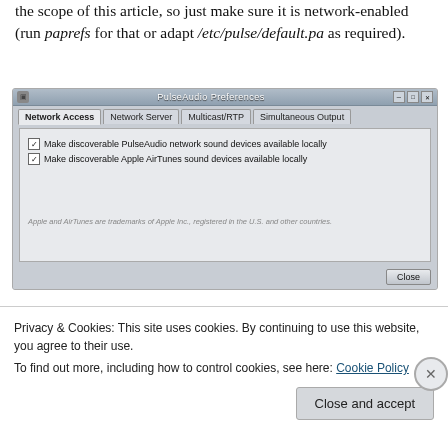the scope of this article, so just make sure it is network-enabled (run paprefs for that or adapt /etc/pulse/default.pa as required).
[Figure (screenshot): PulseAudio Preferences dialog box showing Network Access tab with two checked checkboxes: 'Make discoverable PulseAudio network sound devices available locally' and 'Make discoverable Apple AirTunes sound devices available locally'. Trademark note at bottom. Close button at bottom right.]
Privacy & Cookies: This site uses cookies. By continuing to use this website, you agree to their use.
To find out more, including how to control cookies, see here: Cookie Policy
Close and accept